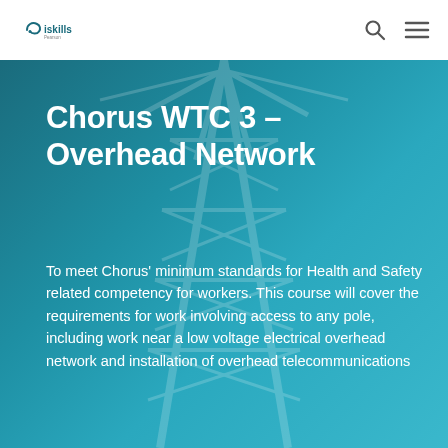iskills
Chorus WTC 3 – Overhead Network
To meet Chorus' minimum standards for Health and Safety related competency for workers. This course will cover the requirements for work involving access to any pole, including work near a low voltage electrical overhead network and installation of overhead telecommunications...